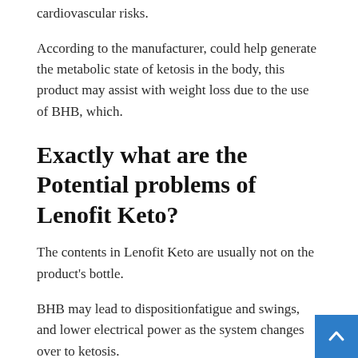cardiovascular risks.
According to the manufacturer, could help generate the metabolic state of ketosis in the body, this product may assist with weight loss due to the use of BHB, which.
Exactly what are the Potential problems of Lenofit Keto?
The contents in Lenofit Keto are usually not on the product's bottle.
BHB may lead to dispositionfatigue and swings, and lower electrical power as the system changes over to ketosis.